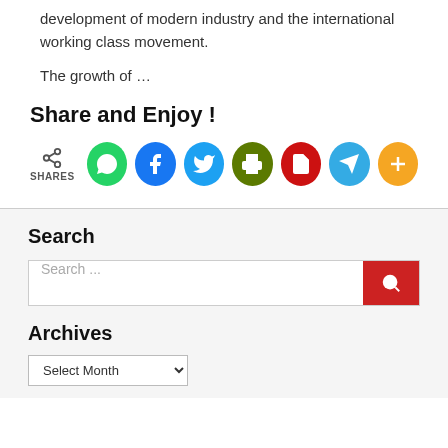development of modern industry and the international working class movement.
The growth of …
Share and Enjoy !
[Figure (infographic): Social share icons: share symbol with SHARES label, WhatsApp (green), Facebook (blue), Twitter (light blue), Print (olive green), PDF (red), Telegram (teal), More (orange)]
Search
Search ...
Archives
Select Month